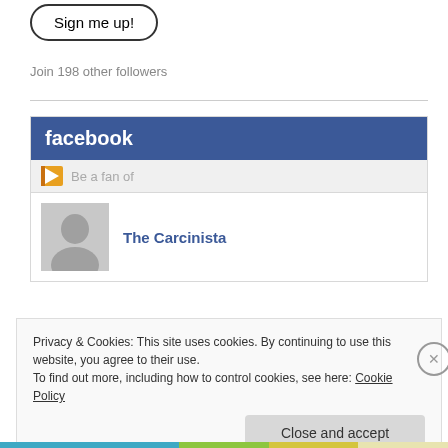[Figure (other): Sign me up! button with rounded border]
Join 198 other followers
[Figure (other): Facebook widget with header, Be a fan of section, and The Carcinista profile with avatar]
Privacy & Cookies: This site uses cookies. By continuing to use this website, you agree to their use.
To find out more, including how to control cookies, see here: Cookie Policy
Close and accept